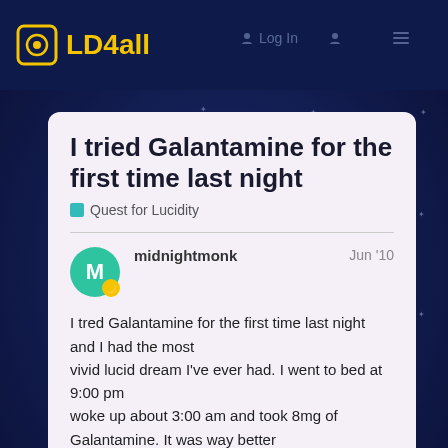LD4all
I tried Galantamine for the first time last night
Quest for Lucidity
midnightmonk  Jun '10
I tred Galantamine for the first time last night and I had the most vivid lucid dream I've ever had. I went to bed at 9:00 pm woke up about 3:00 am and took 8mg of Galantamine. It was way better than I expected. If you can have vivid lucid dreams without supplements thats great. As for me I'm trying
1 / 40